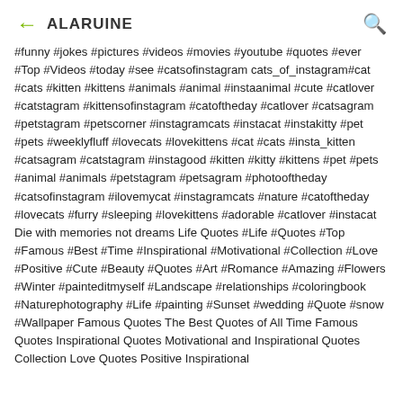← ALARUINE 🔍
#funny #jokes #pictures #videos #movies #youtube #quotes #ever #Top #Videos #today #see #catsofinstagram cats_of_instagram#cat #cats #kitten #kittens #animals #animal #instaanimal #cute #catlover #catstagram #kittensofinstagram #catoftheday #catlover #catsagram #petstagram #petscorner #instagramcats #instacat #instakitty #pet #pets #weeklyfluff #lovecats #lovekittens #cat #cats #insta_kitten #catsagram #catstagram #instagood #kitten #kitty #kittens #pet #pets #animal #animals #petstagram #petsagram #photooftheday #catsofinstagram #ilovemycat #instagramcats #nature #catoftheday #lovecats #furry #sleeping #lovekittens #adorable #catlover #instacat Die with memories not dreams Life Quotes #Life #Quotes #Top #Famous #Best #Time #Inspirational #Motivational #Collection #Love #Positive #Cute #Beauty #Quotes #Art #Romance #Amazing #Flowers #Winter #painteditmyself #Landscape #relationships #coloringbook #Naturephotography #Life #painting #Sunset #wedding #Quote #snow #Wallpaper Famous Quotes The Best Quotes of All Time Famous Quotes Inspirational Quotes Motivational and Inspirational Quotes Collection Love Quotes Positive Inspirational